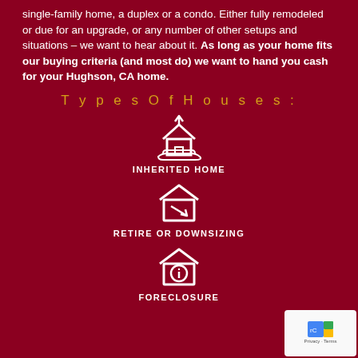single-family home, a duplex or a condo. Either fully remodeled or due for an upgrade, or any number of other setups and situations – we want to hear about it. As long as your home fits our buying criteria (and most do) we want to hand you cash for your Hughson, CA home.
Types Of Houses:
[Figure (illustration): White outline icon of a house with an upward arrow above an open hand (inherited home icon)]
INHERITED HOME
[Figure (illustration): White outline icon of a house with a downward diagonal arrow inside (retire or downsizing icon)]
RETIRE OR DOWNSIZING
[Figure (illustration): White outline icon of a house with an information circle inside (foreclosure icon)]
FORECLOSURE